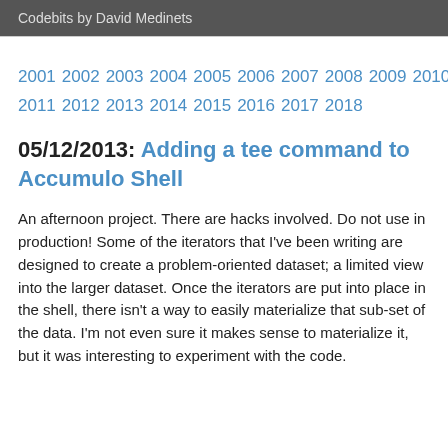Codebits by David Medinets
2001 2002 2003 2004 2005 2006 2007 2008 2009 2010 2011 2012 2013 2014 2015 2016 2017 2018
05/12/2013: Adding a tee command to Accumulo Shell
An afternoon project. There are hacks involved. Do not use in production! Some of the iterators that I've been writing are designed to create a problem-oriented dataset; a limited view into the larger dataset. Once the iterators are put into place in the shell, there isn't a way to easily materialize that sub-set of the data. I'm not even sure it makes sense to materialize it, but it was interesting to experiment with the code.